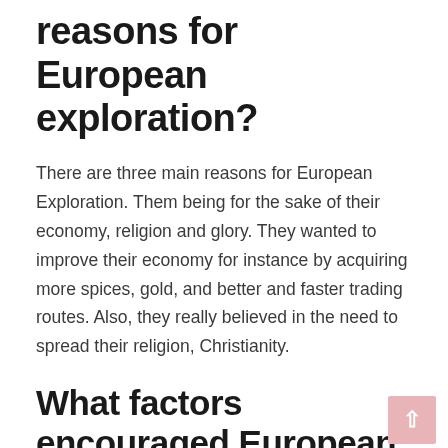reasons for European exploration?
There are three main reasons for European Exploration. Them being for the sake of their economy, religion and glory. They wanted to improve their economy for instance by acquiring more spices, gold, and better and faster trading routes. Also, they really believed in the need to spread their religion, Christianity.
What factors encouraged European exploration?
Historians generally recognize three motives